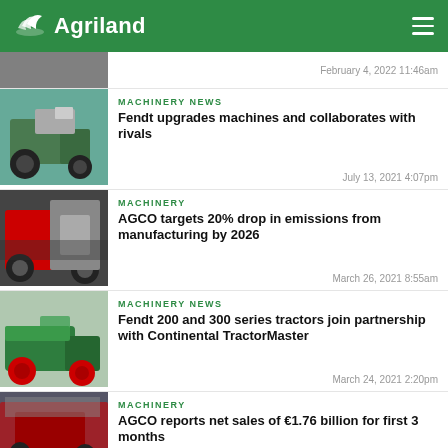Agriland
February 4, 2022 11:46am
MACHINERY NEWS
Fendt upgrades machines and collaborates with rivals
July 13, 2021 4:07pm
MACHINERY
AGCO targets 20% drop in emissions from manufacturing by 2026
March 26, 2021 8:55am
MACHINERY NEWS
Fendt 200 and 300 series tractors join partnership with Continental TractorMaster
March 24, 2021 2:20pm
MACHINERY
AGCO reports net sales of €1.76 billion for first 3 months